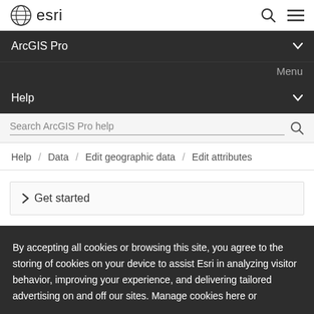esri logo and navigation
ArcGIS Pro
Menu
Help
Search ArcGIS Pro help
Help / Data / Edit geographic data / Edit attributes
> Get started
By accepting all cookies or browsing this site, you agree to the storing of cookies on your device to assist Esri in analyzing visitor behavior, improving your experience, and delivering tailored advertising on and off our sites. Manage cookies here or